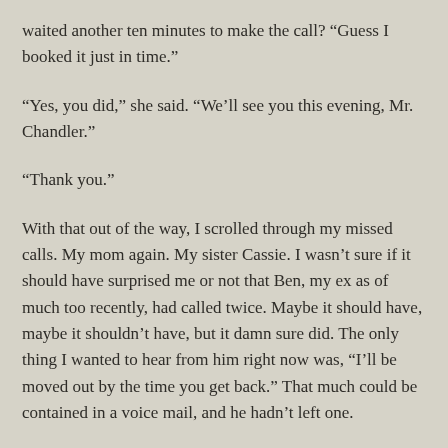waited another ten minutes to make the call? “Guess I booked it just in time.”
“Yes, you did,” she said. “We’ll see you this evening, Mr. Chandler.”
“Thank you.”
With that out of the way, I scrolled through my missed calls. My mom again. My sister Cassie. I wasn’t sure if it should have surprised me or not that Ben, my ex as of much too recently, had called twice. Maybe it should have, maybe it shouldn’t have, but it damn sure did. The only thing I wanted to hear from him right now was, “I’ll be moved out by the time you get back.” That much could be contained in a voice mail, and he hadn’t left one.
I didn’t feel like talking to my mom, and I was not calling Ben